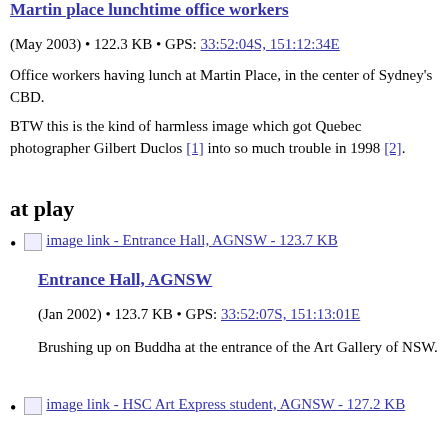Martin place lunchtime office workers
(May 2003) • 122.3 KB • GPS: 33:52:04S, 151:12:34E
Office workers having lunch at Martin Place, in the center of Sydney's CBD.
BTW this is the kind of harmless image which got Quebec photographer Gilbert Duclos [1] into so much trouble in 1998 [2].
at play
image link - Entrance Hall, AGNSW - 123.7 KB
Entrance Hall, AGNSW
(Jan 2002) • 123.7 KB • GPS: 33:52:07S, 151:13:01E
Brushing up on Buddha at the entrance of the Art Gallery of NSW.
image link - HSC Art Express student, AGNSW - 127.2 KB